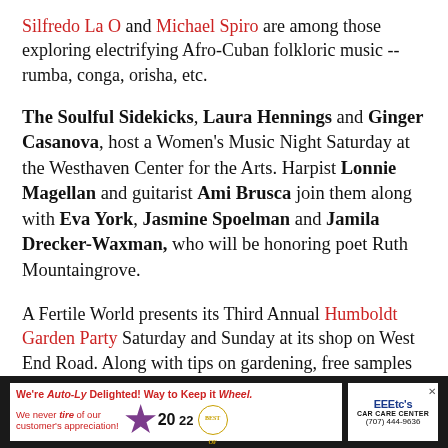Silfredo La O and Michael Spiro are among those exploring electrifying Afro-Cuban folkloric music -- rumba, conga, orisha, etc.
The Soulful Sidekicks, Laura Hennings and Ginger Casanova, host a Women's Music Night Saturday at the Westhaven Center for the Arts. Harpist Lonnie Magellan and guitarist Ami Brusca join them along with Eva York, Jasmine Spoelman and Jamila Drecker-Waxman, who will be honoring poet Ruth Mountaingrove.
A Fertile World presents its Third Annual Humboldt Garden Party Saturday and Sunday at its shop on West End Road. Along with tips on gardening, free samples etc.
[Figure (infographic): Advertisement banner for EEEtc's Car Care Center with text: We're Auto-Ly Delighted! Way to Keep it Wheel. We never tire of our customer's appreciation! 2022. Phone: (707) 444-9636]